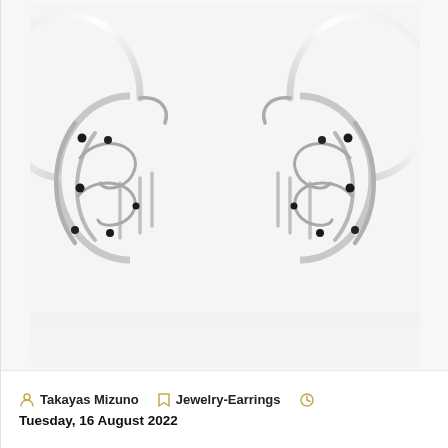[Figure (photo): Product photo of a pair of silver hoop earrings with intricate filigree and black diamond accents, shown on white background with subtle reflection below]
Takayas Mizuno   Jewelry-Earrings   Tuesday, 16 August 2022